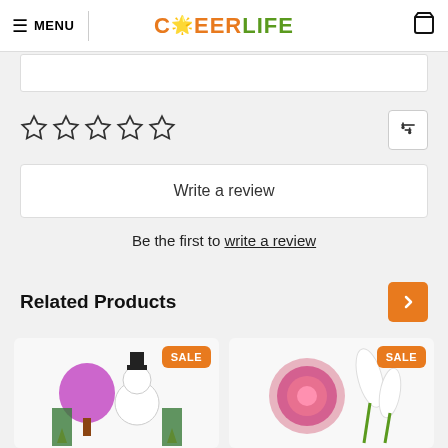MENU | CHEERLIFE
[Figure (screenshot): Top partial view of a search/input bar]
[Figure (other): 5 empty star rating icons and a filter/sliders icon button]
Write a review
Be the first to write a review
Related Products
[Figure (photo): Product card showing colorful decorative figurines including a purple tree and snowman with a SALE badge]
[Figure (photo): Product card showing floral and white flower/plant arrangement with a SALE badge]